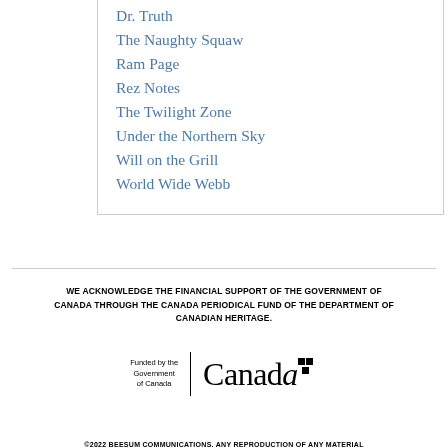Dr. Truth
The Naughty Squaw
Ram Page
Rez Notes
The Twilight Zone
Under the Northern Sky
Will on the Grill
World Wide Webb
WE ACKNOWLEDGE THE FINANCIAL SUPPORT OF THE GOVERNMENT OF CANADA THROUGH THE CANADA PERIODICAL FUND OF THE DEPARTMENT OF CANADIAN HERITAGE.
[Figure (logo): Funded by the Government of Canada | Canada wordmark logo with maple leaf flags]
©2022 BEESUM COMMUNICATIONS. ANY REPRODUCTION OF ANY MATERIAL